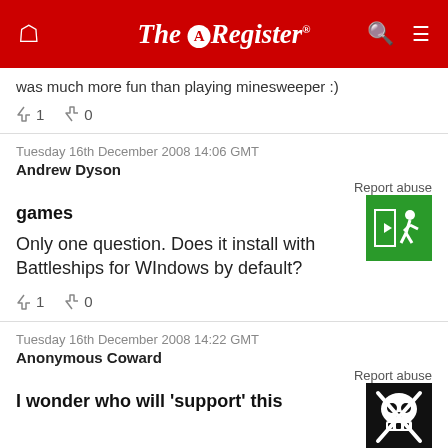The Register
was much more fun than playing minesweeper :)
↑1  ↓0
Tuesday 16th December 2008 14:06 GMT
Andrew Dyson
Report abuse
games
Only one question. Does it install with Battleships for WIndows by default?
↑1  ↓0
Tuesday 16th December 2008 14:22 GMT
Anonymous Coward
Report abuse
I wonder who will 'support' this